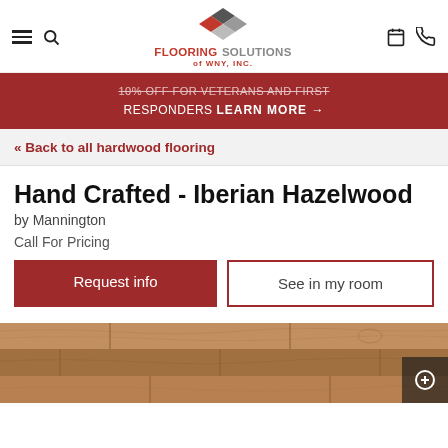[Figure (logo): Flooring Solutions of WNY, INC. logo with geometric flooring tile pattern above text]
10% OFF FOR VETERANS AND FIRST RESPONDERS LEARN MORE →
« Back to all hardwood flooring
Hand Crafted - Iberian Hazelwood
by Mannington
Call For Pricing
Request info
See in my room
[Figure (photo): Close-up photo of hand crafted Iberian Hazelwood hardwood flooring planks with warm brown tones]